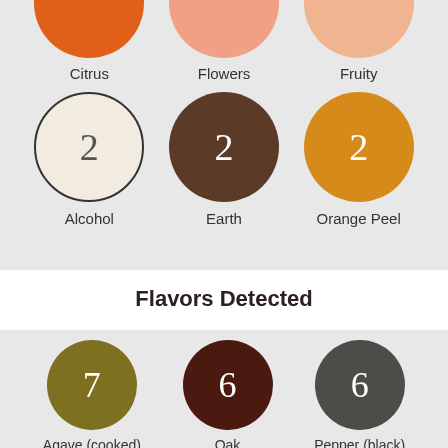[Figure (infographic): Top section showing partial circles for Citrus (orange), Flowers (salmon/light orange), Fruity (peach) - visible as half-circles at top. Below them: Alcohol (cream/white circle with number 2), Earth (dark brown circle with number 2), Orange Peel (amber/orange circle with number 2). Each circle has its label below it. This is a flavor/aroma wheel infographic.]
Flavors Detected
[Figure (infographic): Bottom section showing three large circles partially visible: Agave (cooked) - olive/dark yellow circle with number 7, Oak - dark brown circle with number 6, Pepper (black) - dark gray circle with number 6. Each circle has its label below it.]